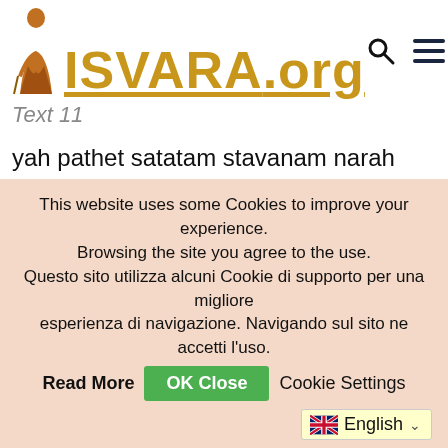[Figure (logo): ISVARA.org website logo with monk figure and gold text]
Text 11
yah pathet satatam stavanam narah
sa tu hareh paramam padam ävrajet
jagati sarva-balam to ari-mardanam
bhavati tasya dhanam sva-janam dhanam
This website uses some Cookies to improve your experience. Browsing the site you agree to the use. Questo sito utilizza alcuni Cookie di supporto per una migliore esperienza di navigazione. Navigando sul sito ne accetti l'uso.
Read More   OK Close   Cookie Settings